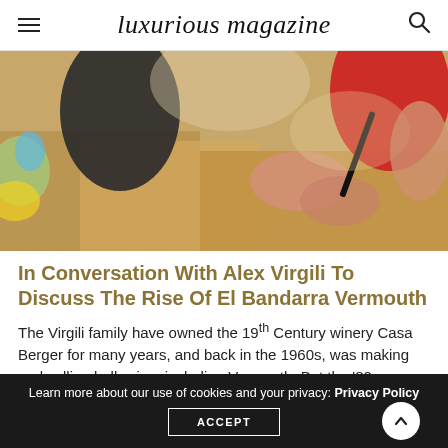luxurious magazine
[Figure (photo): Close-up photo of people working with cardboard boxes, hands visible with markers, blurred background with colorful objects]
In Conversation With Alex Virgili To Discuss The Rise Of El Bandarra Vermouth
The Virgili family have owned the 19th Century winery Casa Berger for many years, and back in the 1960s, was making and selling bulk wine, including Vermouth. But the ‘80s came, and…continue reading…
Learn more about our use of cookies and your privacy: Privacy Policy ACCEPT